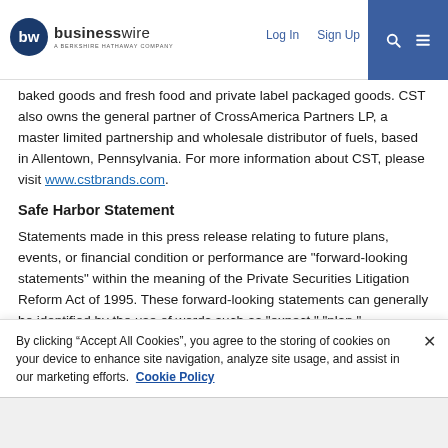businesswire — A BERKSHIRE HATHAWAY COMPANY | Log In | Sign Up
baked goods and fresh food and private label packaged goods. CST also owns the general partner of CrossAmerica Partners LP, a master limited partnership and wholesale distributor of fuels, based in Allentown, Pennsylvania. For more information about CST, please visit www.cstbrands.com.
Safe Harbor Statement
Statements made in this press release relating to future plans, events, or financial condition or performance are "forward-looking statements" within the meaning of the Private Securities Litigation Reform Act of 1995. These forward-looking statements can generally be identified by the use of words such as "expect," "plan,"
By clicking “Accept All Cookies”, you agree to the storing of cookies on your device to enhance site navigation, analyze site usage, and assist in our marketing efforts.  Cookie Policy